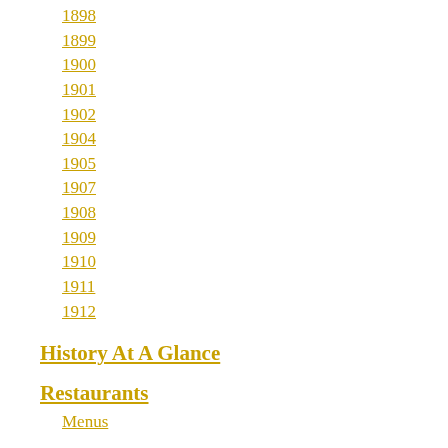1898
1899
1900
1901
1902
1904
1905
1907
1908
1909
1910
1911
1912
History At A Glance
Restaurants
Menus
Uncategorized